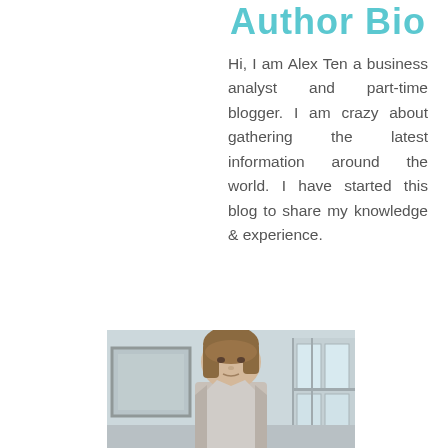Author Bio
Hi, I am Alex Ten a business analyst and part-time blogger. I am crazy about gathering the latest information around the world. I have started this blog to share my knowledge & experience.
[Figure (photo): A woman with shoulder-length brown hair standing indoors in front of a framed picture and windows, dressed professionally.]